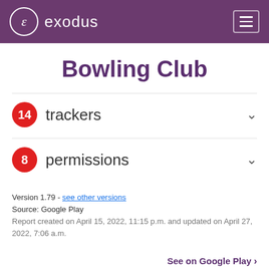exodus
Bowling Club
14 trackers
8 permissions
Version 1.79 - see other versions
Source: Google Play
Report created on April 15, 2022, 11:15 p.m. and updated on April 27, 2022, 7:06 a.m.
See on Google Play